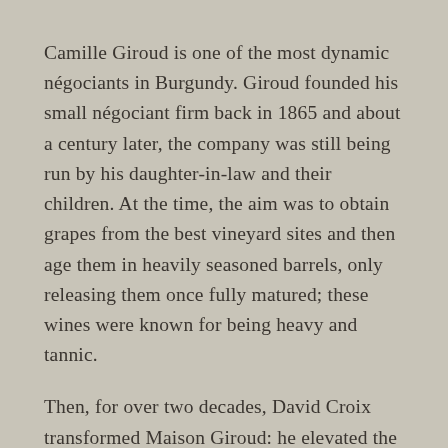Camille Giroud is one of the most dynamic négociants in Burgundy. Giroud founded his small négociant firm back in 1865 and about a century later, the company was still being run by his daughter-in-law and their children. At the time, the aim was to obtain grapes from the best vineyard sites and then age them in heavily seasoned barrels, only releasing them once fully matured; these wines were known for being heavy and tannic.
Then, for over two decades, David Croix transformed Maison Giroud: he elevated the brand by producing more refined, contemporary expressions of Burgundy. Croix focused on lower yields, riper grapes and creating wines with vibrant personality and softer tannins. Since 2016, these